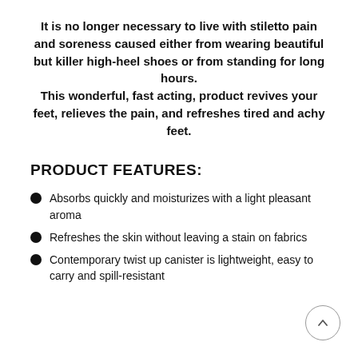It is no longer necessary to live with stiletto pain and soreness caused either from wearing beautiful but killer high-heel shoes or from standing for long hours. This wonderful, fast acting, product revives your feet, relieves the pain, and refreshes tired and achy feet.
PRODUCT FEATURES:
Absorbs quickly and moisturizes with a light pleasant aroma
Refreshes the skin without leaving a stain on fabrics
Contemporary twist up canister is lightweight, easy to carry and spill-resistant